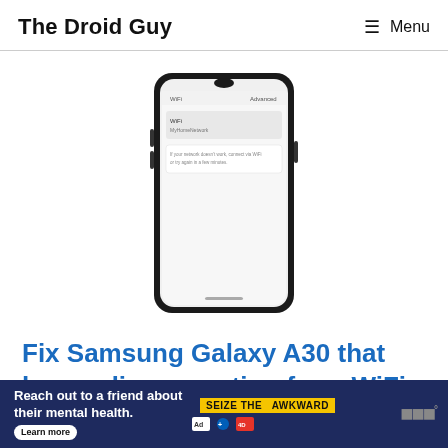The Droid Guy   ☰ Menu
[Figure (photo): Samsung Galaxy A30 smartphone showing WiFi settings screen with a notification about disconnecting from WiFi network]
Fix Samsung Galaxy A30 that keeps disconnecting from WiFi network
[Figure (infographic): Advertisement banner: 'Reach out to a friend about their mental health. Learn more' with 'SEIZE THE AWKWARD' yellow badge and Ad Council logos]